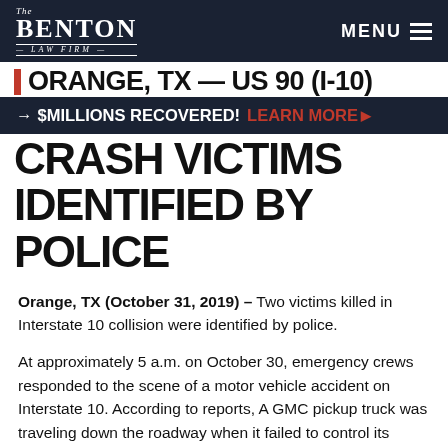The Benton Law Firm — MENU
ORANGE, TX — US 90 (I-10) CRASH VICTIMS IDENTIFIED BY POLICE
→ $MILLIONS RECOVERED! LEARN MORE ▶
Orange, TX (October 31, 2019) – Two victims killed in Interstate 10 collision were identified by police.
At approximately 5 a.m. on October 30, emergency crews responded to the scene of a motor vehicle accident on Interstate 10. According to reports, A GMC pickup truck was traveling down the roadway when it failed to control its speed and collided with five other vehicles, which were stopped at a red light.